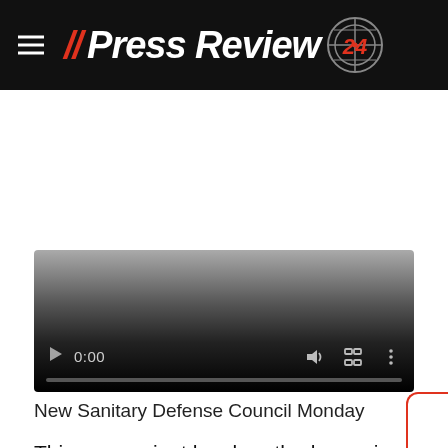PressReview24
[Figure (screenshot): Embedded video player with controls showing 0:00 timestamp, play button, volume, fullscreen, and more options icons on a dark gradient background]
New Sanitary Defense Council Monday
This new variant has breathed a panic wind throughout the world But it's too early to say what impact it will have on the pandemic, agree on the experts. On paper, the unprecedented number of